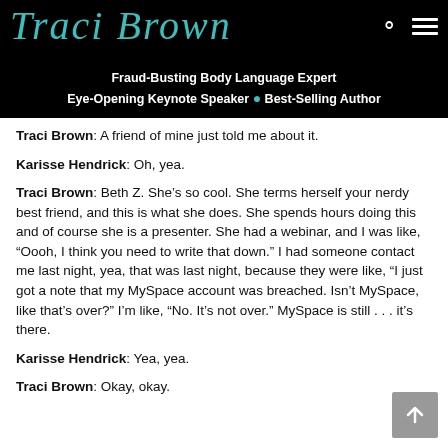Traci Brown — Fraud-Busting Body Language Expert | Eye-Opening Keynote Speaker • Best-Selling Author
Traci Brown:  A friend of mine just told me about it.
Karisse Hendrick:  Oh, yea.
Traci Brown:  Beth Z.  She’s so cool.  She terms herself your nerdy best friend, and this is what she does.  She spends hours doing this and of course she is a presenter.  She had a webinar, and I was like, “Oooh, I think you need to write that down.”  I had someone contact me last night, yea, that was last night, because they were like, “I just got a note that my MySpace account was breached.  Isn’t MySpace, like that’s over?”  I’m like, “No.  It’s not over.”  MySpace is still . . . it’s there.
Karisse Hendrick:  Yea, yea.
Traci Brown:  Okay, okay.